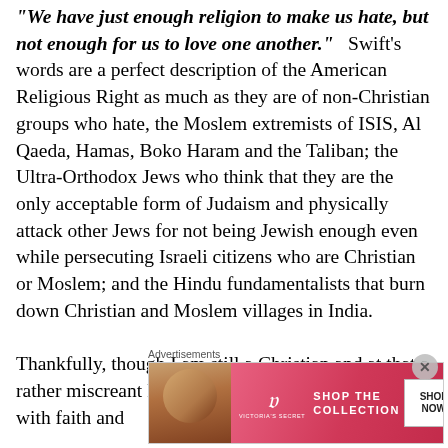"We have just enough religion to make us hate, but not enough for us to love one another."  Swift's words are a perfect description of the American Religious Right as much as they are of non-Christian groups who hate, the Moslem extremists of ISIS, Al Qaeda, Hamas, Boko Haram and the Taliban; the Ultra-Orthodox Jews who think that they are the only acceptable form of Judaism and physically attack other Jews for not being Jewish enough even while persecuting Israeli citizens who are Christian or Moslem; and the Hindu fundamentalists that burn down Christian and Moslem villages in India.

Thankfully, though I am still a Christian and at that a rather miscreant Priest and Chaplain that struggles with faith and
Advertisements
[Figure (other): Victoria's Secret advertisement banner with a model photo on the left, VS logo and brand name in center, 'SHOP THE COLLECTION' text, and 'SHOP NOW' button on right, pink/red gradient background.]